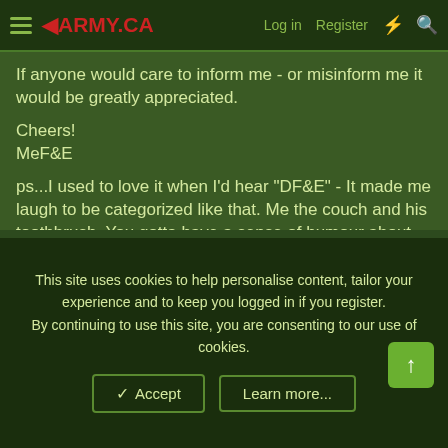ARMY.CA — Log in | Register
If anyone would care to inform me - or misinform me it would be greatly appreciated.

Cheers!
MeF&E

ps...I used to love it when I'd hear "DF&E" - It made me laugh to be categorized like that. Me the couch and his toothbrush. You gotta have a sense of humour about these things people! At least I came before the toothbrush.
Big Foot
Sr. Member
This site uses cookies to help personalise content, tailor your experience and to keep you logged in if you register.
By continuing to use this site, you are consenting to our use of cookies.